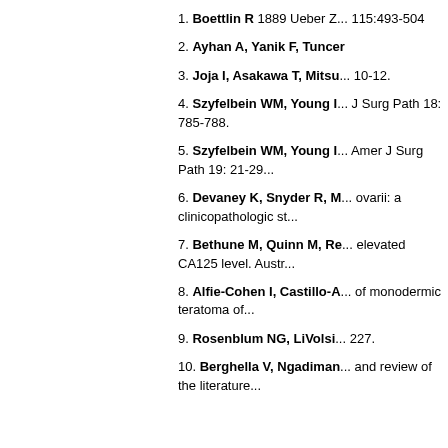1. Boettlin R 1889 Ueber Z... 115:493-504
2. Ayhan A, Yanik F, Tuncer...
3. Joja I, Asakawa T, Mitsu... 10-12.
4. Szyfelbein WM, Young I... J Surg Path 18: 785-788.
5. Szyfelbein WM, Young I... Amer J Surg Path 19: 21-29...
6. Devaney K, Snyder R, M... ovarii: a clinicopathologic st...
7. Bethune M, Quinn M, R... elevated CA125 level. Austr...
8. Alfie-Cohen I, Castillo-A... of monodermic teratoma of...
9. Rosenblum NG, LiVolsi... 227.
10. Berghella V, Ngadiman... and review of the literature...